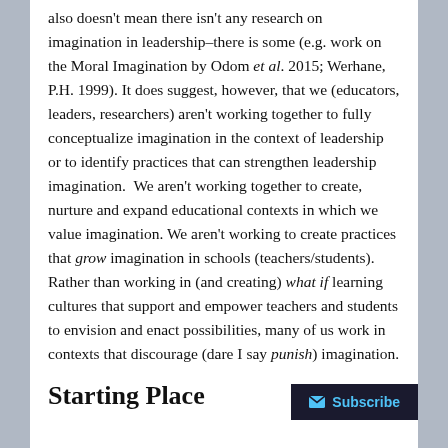also doesn't mean there isn't any research on imagination in leadership–there is some (e.g. work on the Moral Imagination by Odom et al. 2015; Werhane, P.H. 1999). It does suggest, however, that we (educators, leaders, researchers) aren't working together to fully conceptualize imagination in the context of leadership or to identify practices that can strengthen leadership imagination.  We aren't working together to create, nurture and expand educational contexts in which we value imagination. We aren't working to create practices that grow imagination in schools (teachers/students). Rather than working in (and creating) what if learning cultures that support and empower teachers and students to envision and enact possibilities, many of us work in contexts that discourage (dare I say punish) imagination.
Starting Place